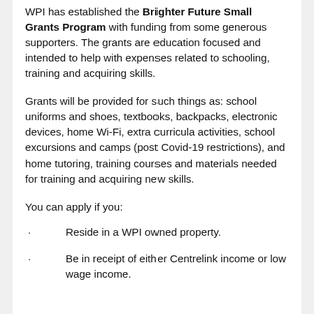WPI has established the Brighter Future Small Grants Program with funding from some generous supporters. The grants are education focused and intended to help with expenses related to schooling, training and acquiring skills.
Grants will be provided for such things as: school uniforms and shoes, textbooks, backpacks, electronic devices, home Wi-Fi, extra curricula activities, school excursions and camps (post Covid-19 restrictions), and home tutoring, training courses and materials needed for training and acquiring new skills.
You can apply if you:
Reside in a WPI owned property.
Be in receipt of either Centrelink income or low wage income.